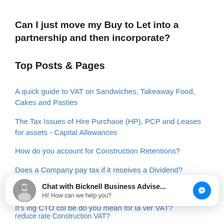Can I just move my Buy to Let into a partnership and then incorporate?
Top Posts & Pages
A quick guide to VAT on Sandwiches, Takeaway Food, Cakes and Pasties
The Tax Issues of Hire Purchase (HP), PCP and Leases for assets - Capital Allowances
How do you account for Construction Retentions?
Does a Company pay tax if it receives a Dividend?
How do you de-register for CIS?
[Figure (other): Chat widget overlay showing 'Chat with Bicknell Business Advise...' with avatar, Messenger icon, and 'Hi! How can we help you?' subtitle]
reduce rate construction VAT?